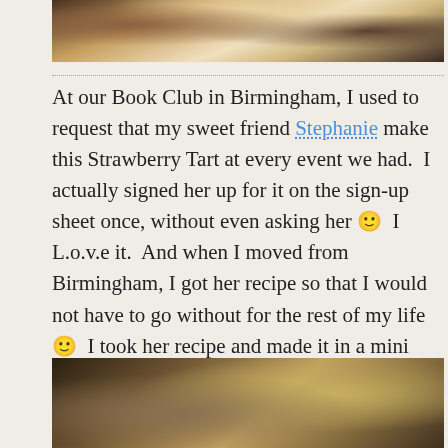[Figure (photo): Top of page — partial photo of food (strawberry tart on a plate), cropped, dark edges visible]
At our Book Club in Birmingham, I used to request that my sweet friend Stephanie make this Strawberry Tart at every event we had.  I actually signed her up for it on the sign-up sheet once, without even asking her 🙂  I L.o.v.e it.  And when I moved from Birmingham, I got her recipe so that I would not have to go without for the rest of my life 🙂  I took her recipe and made it in a mini version for our Ladies' lunch.  This blog is too long for me to write out the recipe now, but if yall will remind me, I really will write it out for you.
[Figure (photo): Bottom of page — partial photo (blurred/dark, appears to be table setting or food), cropped at bottom edge]